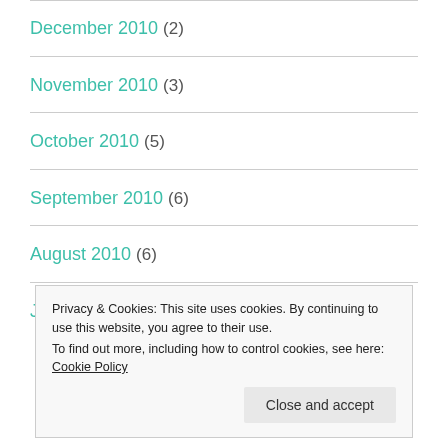December 2010 (2)
November 2010 (3)
October 2010 (5)
September 2010 (6)
August 2010 (6)
July 2010 (5)
Privacy & Cookies: This site uses cookies. By continuing to use this website, you agree to their use.
To find out more, including how to control cookies, see here: Cookie Policy